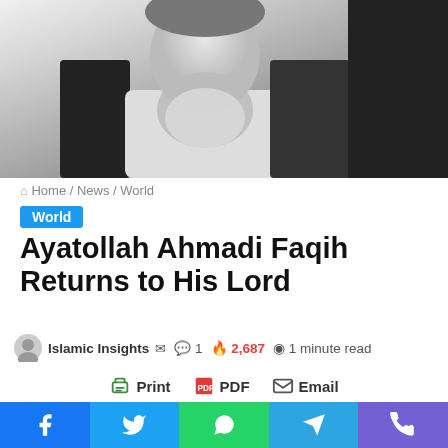[Figure (photo): Black and white photo of an elderly bearded man (Ayatollah Ahmadi Faqih) with a dark robe, cropped to show head and chest area]
Home / News / World
World
Ayatollah Ahmadi Faqih Returns to His Lord
Islamic Insights  1  2,687  1 minute read
Print  PDF  Email
Ayatollah Ahmadi FaqihProminent scholar, jurist, and